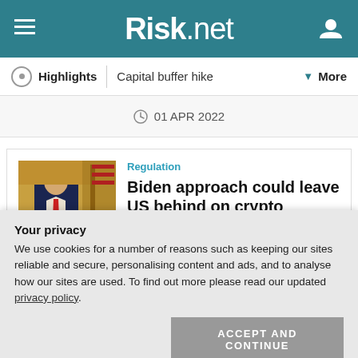Risk.net
Highlights | Capital buffer hike | More
01 APR 2022
Regulation
Biden approach could leave US behind on crypto regulation
Long timeline of executive order means international community may move faster
Your privacy
We use cookies for a number of reasons such as keeping our sites reliable and secure, personalising content and ads, and to analyse how our sites are used. To find out more please read our updated privacy policy.
[Figure (photo): Photo of a person (likely Biden) signing documents at a desk in an official office setting]